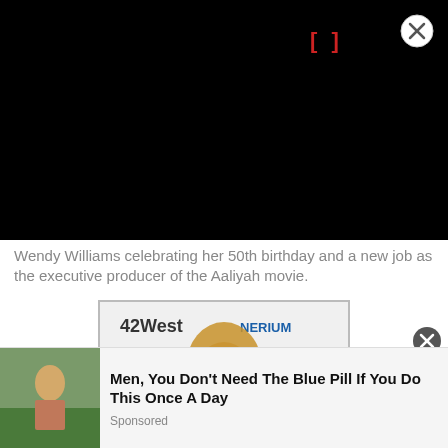[Figure (photo): Black navigation/header bar with red bracket icon and close button]
Wendy Williams celebrating her 50th birthday and a new job as the executive producer of the Aaliyah movie.
[Figure (photo): Wendy Williams posing at a step-and-repeat backdrop with AARP, 42West, Nerium, SX Liquors and other sponsor logos, wearing a black dress, with gold balloons visible]
[Figure (photo): Advertisement: Men, You Don't Need The Blue Pill If You Do This Once A Day — Sponsored ad with thumbnail image]